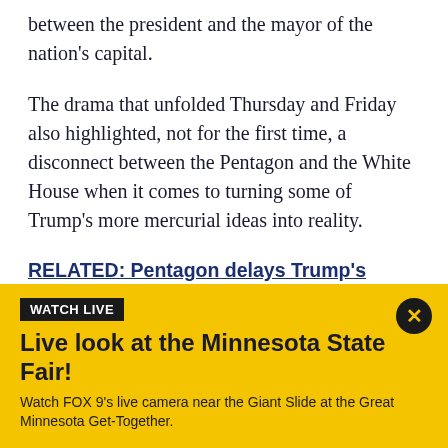between the president and the mayor of the nation's capital.
The drama that unfolded Thursday and Friday also highlighted, not for the first time, a disconnect between the Pentagon and the White House when it comes to turning some of Trump's more mercurial ideas into reality.
RELATED: Pentagon delays Trump's military parade until at least 2019
While Defense Secretary Jim Mattis dismissed the price
[Figure (infographic): Yellow banner ad with black 'WATCH LIVE' badge, headline 'Live look at the Minnesota State Fair!', subtext 'Watch FOX 9's live camera near the Giant Slide at the Great Minnesota Get-Together.', with a black circular close button with yellow X in top right.]